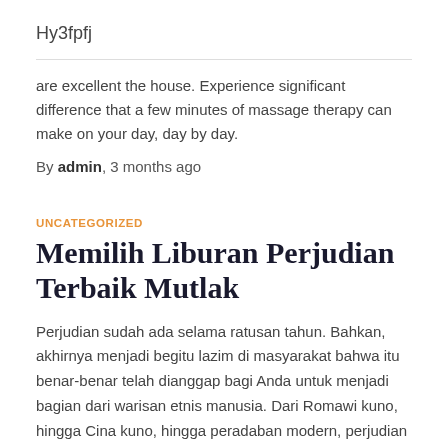Hy3fpfj
are excellent the house. Experience significant difference that a few minutes of massage therapy can make on your day, day by day.
By admin, 3 months ago
UNCATEGORIZED
Memilih Liburan Perjudian Terbaik Mutlak
Perjudian sudah ada selama ratusan tahun. Bahkan, akhirnya menjadi begitu lazim di masyarakat bahwa itu benar-benar telah dianggap bagi Anda untuk menjadi bagian dari warisan etnis manusia. Dari Romawi kuno, hingga Cina kuno, hingga peradaban modern, perjudian memang telah menjadi komponen sejarah. Bahkan, bahkan berbagai misi paling terkenal yang diketuai telah